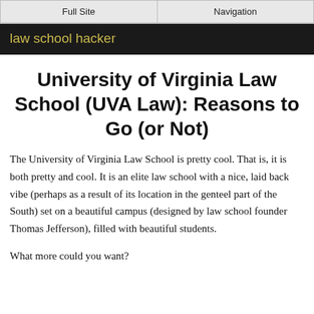Full Site | Navigation
law school hacker
University of Virginia Law School (UVA Law): Reasons to Go (or Not)
The University of Virginia Law School is pretty cool. That is, it is both pretty and cool. It is an elite law school with a nice, laid back vibe (perhaps as a result of its location in the genteel part of the South) set on a beautiful campus (designed by law school founder Thomas Jefferson), filled with beautiful students.
What more could you want?